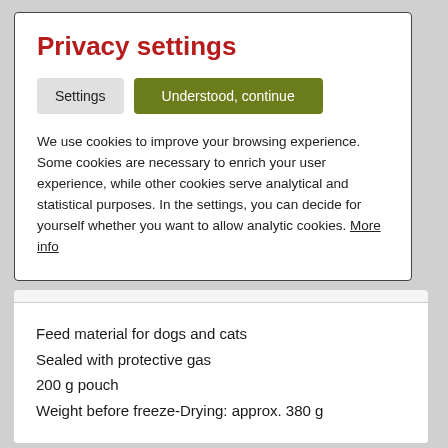Privacy settings
Settings   Understood, continue
We use cookies to improve your browsing experience. Some cookies are necessary to enrich your user experience, while other cookies serve analytical and statistical purposes. In the settings, you can decide for yourself whether you want to allow analytic cookies. More info
Feed material for dogs and cats
Sealed with protective gas
200 g pouch
Weight before freeze-Drying: approx. 380 g